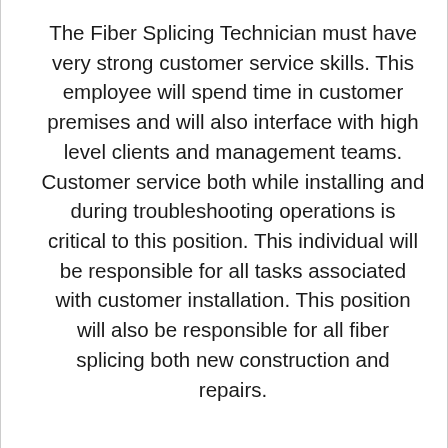The Fiber Splicing Technician must have very strong customer service skills. This employee will spend time in customer premises and will also interface with high level clients and management teams. Customer service both while installing and during troubleshooting operations is critical to this position. This individual will be responsible for all tasks associated with customer installation. This position will also be responsible for all fiber splicing both new construction and repairs.